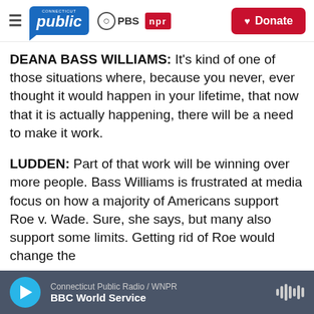Connecticut Public | PBS | NPR — Donate
DEANA BASS WILLIAMS: It's kind of one of those situations where, because you never, ever thought it would happen in your lifetime, that now that it is actually happening, there will be a need to make it work.
LUDDEN: Part of that work will be winning over more people. Bass Williams is frustrated at media focus on how a majority of Americans support Roe v. Wade. Sure, she says, but many also support some limits. Getting rid of Roe would change the
Connecticut Public Radio / WNPR — BBC World Service